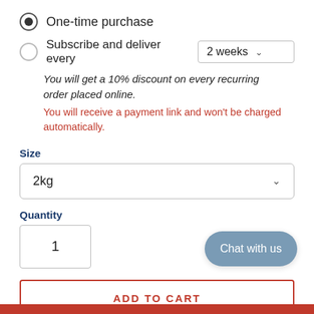One-time purchase
Subscribe and deliver every 2 weeks
You will get a 10% discount on every recurring order placed online.
You will receive a payment link and won't be charged automatically.
Size
2kg
Quantity
1
ADD TO CART
Chat with us